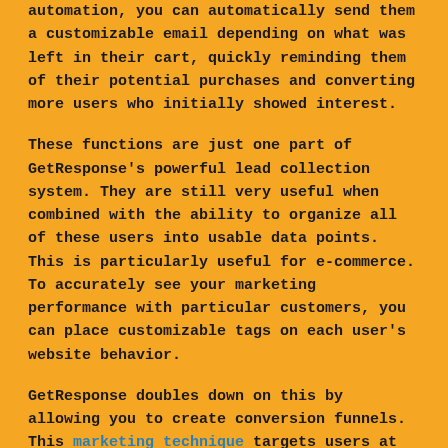automation, you can automatically send them a customizable email depending on what was left in their cart, quickly reminding them of their potential purchases and converting more users who initially showed interest.
These functions are just one part of GetResponse's powerful lead collection system. They are still very useful when combined with the ability to organize all of these users into usable data points. This is particularly useful for e-commerce. To accurately see your marketing performance with particular customers, you can place customizable tags on each user's website behavior.
GetResponse doubles down on this by allowing you to create conversion funnels. This marketing technique targets users at specific points of their purchase timeline. This allows you to target users who have just signed up, while also targeting returning users with a